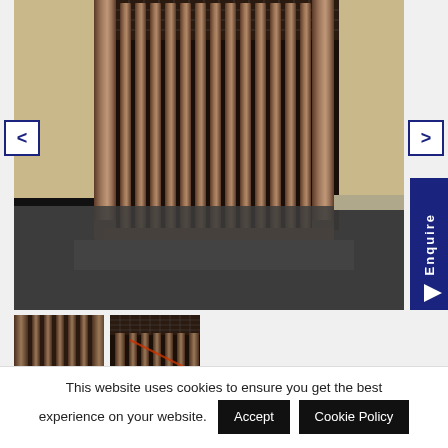[Figure (photo): Main photo of an old cast iron radiator with vertical slats/bars, standing on dark carpet against a cream/beige wall. The radiator appears dusty and has a wire mesh or grid visible at the top.]
[Figure (photo): Thumbnail 1: Close-up of radiator slats from the side]
[Figure (photo): Thumbnail 2: Angled view of radiator showing wire mesh detail at top]
This website uses cookies to ensure you get the best experience on your website. Accept Cookie Policy